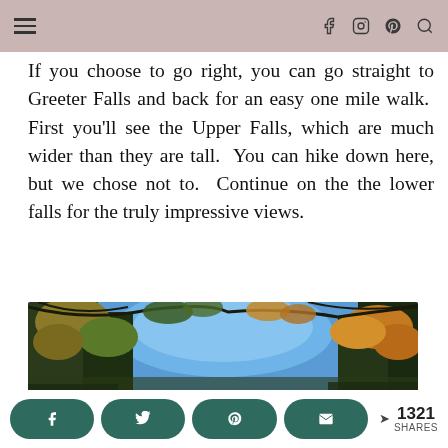Navigation bar with hamburger menu and social icons (Facebook, Instagram, Pinterest, Search)
If you choose to go right, you can go straight to Greeter Falls and back for an easy one mile walk.  First you'll see the Upper Falls, which are much wider than they are tall.  You can hike down here, but we chose not to.  Continue on the the lower falls for the truly impressive views.
[Figure (photo): Looking up through autumn forest canopy with yellow and orange leaves against a blue sky]
Share buttons: Facebook, Twitter, Pinterest, Email. 1321 SHARES